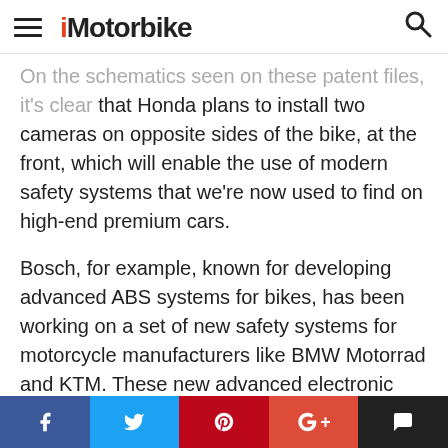iMotorbike
On the schematics seen on these patent files, it's clear that Honda plans to install two cameras on opposite sides of the bike, at the front, which will enable the use of modern safety systems that we're now used to find on high-end premium cars.
Bosch, for example, known for developing advanced ABS systems for bikes, has been working on a set of new safety systems for motorcycle manufacturers like BMW Motorrad and KTM. These new advanced electronic packages will bring car active safety systems to the motorcycle world, but Bosch is using radars and not cameras to reach this goal.
Why use two cameras and not just one?
[Figure (infographic): Social media sharing bar with Facebook, Twitter, Pinterest, Google+, and comment buttons]